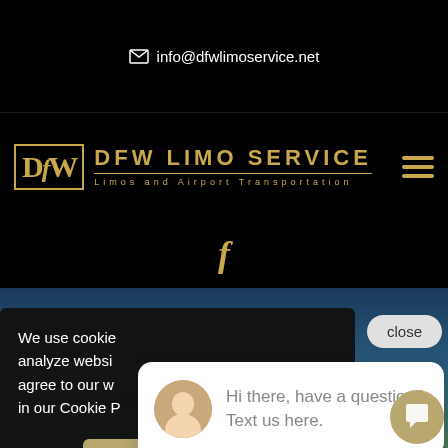info@dfwlimoservice.net
[Figure (logo): DFW Limo Service logo with gold text and hamburger menu icon on black background]
[Figure (illustration): Facebook icon in gold on black background]
[Figure (screenshot): Cookie consent banner with close button and chat popup overlay on mountain landscape background]
We use cookies to analyze website traffic and agree to our website use in our Cookie Policy.
Got it!
Allow
close
Hi there, have a question? Text us here.